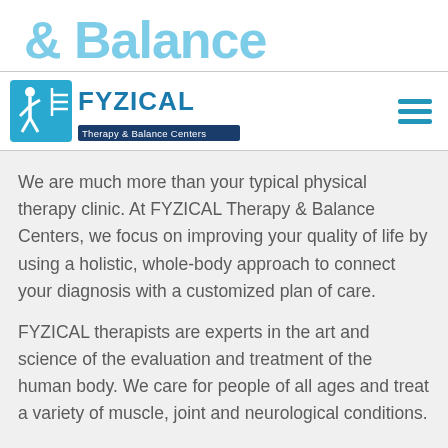& Balance
[Figure (logo): FYZICAL Therapy & Balance Centers logo with stylized figure and blue/navy color scheme, plus hamburger menu icon]
We are much more than your typical physical therapy clinic. At FYZICAL Therapy & Balance Centers, we focus on improving your quality of life by using a holistic, whole-body approach to connect your diagnosis with a customized plan of care.
FYZICAL therapists are experts in the art and science of the evaluation and treatment of the human body. We care for people of all ages and treat a variety of muscle, joint and neurological conditions.